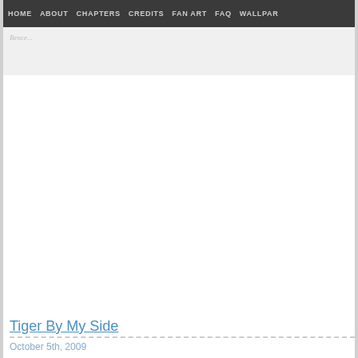HOME | ABOUT | CHAPTERS | CREDITS | FAN ART | FAQ | WALLPAR
[Figure (illustration): Faded webcomic banner/logo area with decorative background imagery]
Tiger By My Side
October 5th, 2009
NSFW Warning: Naked booty ahoy!
[Figure (illustration): Bottom portion of a comic page showing partial imagery with a Union Jack flag and figures]